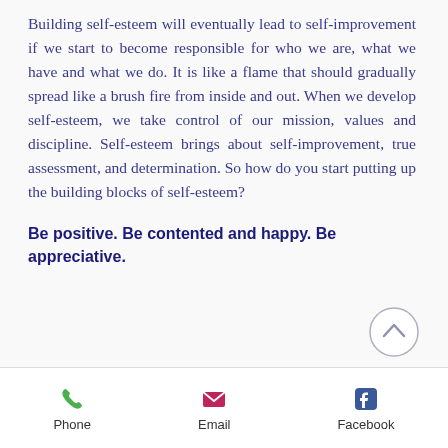Building self-esteem will eventually lead to self-improvement if we start to become responsible for who we are, what we have and what we do. It is like a flame that should gradually spread like a brush fire from inside and out. When we develop self-esteem, we take control of our mission, values and discipline. Self-esteem brings about self-improvement, true assessment, and determination. So how do you start putting up the building blocks of self-esteem?
Be positive. Be contented and happy. Be appreciative.
[Figure (other): Circular scroll-to-top button with upward chevron arrow, light border]
Phone   Email   Facebook